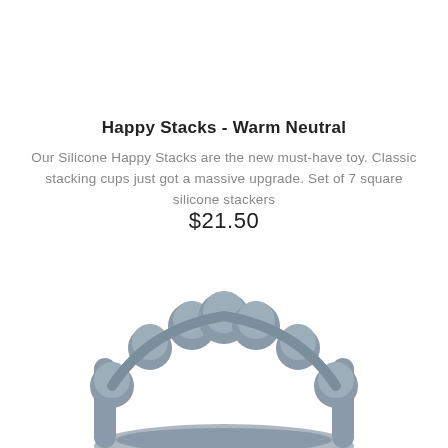Happy Stacks - Warm Neutral
Our Silicone Happy Stacks are the new must-have toy. Classic stacking cups just got a massive upgrade. Set of 7 square silicone stackers
$21.50
[Figure (photo): Gray silicone stacking toy with beaded ring shape, showing multiple spherical beads arranged in an arch/ring pattern, photographed from above on white background]